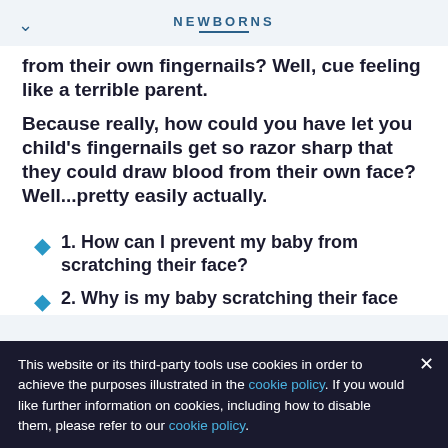NEWBORNS
from their own fingernails? Well, cue feeling like a terrible parent.
Because really, how could you have let you child's fingernails get so razor sharp that they could draw blood from their own face? Well...pretty easily actually.
1. How can I prevent my baby from scratching their face?
2. Why is my baby scratching their face
This website or its third-party tools use cookies in order to achieve the purposes illustrated in the cookie policy. If you would like further information on cookies, including how to disable them, please refer to our cookie policy.